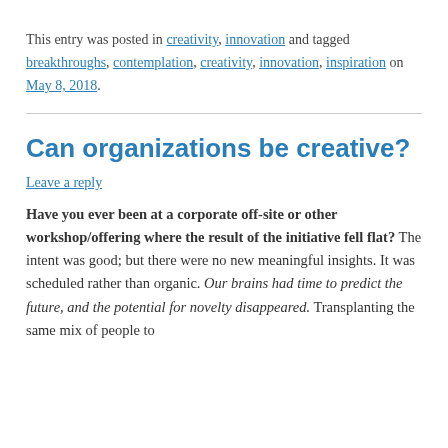This entry was posted in creativity, innovation and tagged breakthroughs, contemplation, creativity, innovation, inspiration on May 8, 2018.
Can organizations be creative?
Leave a reply
Have you ever been at a corporate off-site or other workshop/offering where the result of the initiative fell flat? The intent was good; but there were no new meaningful insights. It was scheduled rather than organic. Our brains had time to predict the future, and the potential for novelty disappeared. Transplanting the same mix of people to